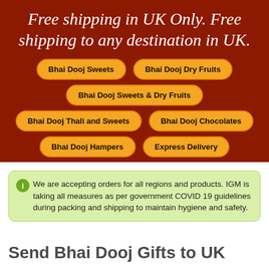[Figure (infographic): Dark red/maroon banner with cursive white text 'Free shipping in UK Only. Free shipping to any destination in UK.' and six amber/orange pill-shaped buttons: Bhai Dooj Sweets, Bhai Dooj Dry Fruits, Bhai Dooj Sweets & Dry Fruits, Bhai Dooj Thali and Sweets, Bhai Dooj Chocolates, Bhai Dooj Hampers, Express Delivery]
We are accepting orders for all regions and products. IGM is taking all measures as per government COVID 19 guidelines during packing and shipping to maintain hygiene and safety.
Send Bhai Dooj Gifts to UK